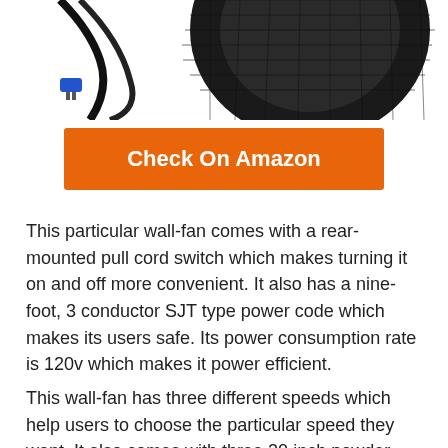[Figure (photo): Partial view of a black wall fan with power cord and blue plug visible at top of page]
Check On Amazon
This particular wall-fan comes with a rear-mounted pull cord switch which makes turning it on and off more convenient. It also has a nine-foot, 3 conductor SJT type power code which makes its users safe. Its power consumption rate is 120v which makes it power efficient.
This wall-fan has three different speeds which help users to choose the particular speed they want. It also comes with three 20 inch powder coated metal